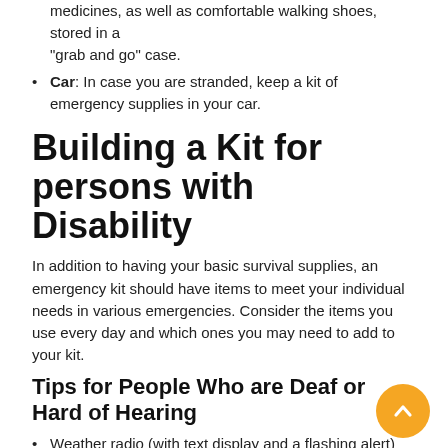medicines, as well as comfortable walking shoes, stored in a "grab and go" case.
Car: In case you are stranded, keep a kit of emergency supplies in your car.
Building a Kit for persons with Disability
In addition to having your basic survival supplies, an emergency kit should have items to meet your individual needs in various emergencies. Consider the items you use every day and which ones you may need to add to your kit.
Tips for People Who are Deaf or Hard of Hearing
Weather radio (with text display and a flashing alert)
Extra hearing-aid batteries
Pen and paper (in case you have to communicate with someone who does not know sign language)